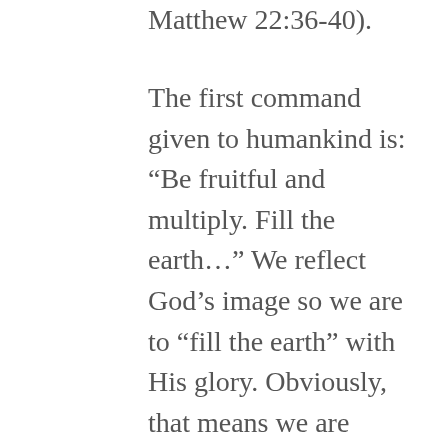Matthew 22:36-40).
The first command given to humankind is: “Be fruitful and multiply. Fill the earth…” We reflect God’s image so we are to “fill the earth” with His glory. Obviously, that means we are reproduce and perpetuate the human race. But it also means we are to be creative just as God is creative. God has